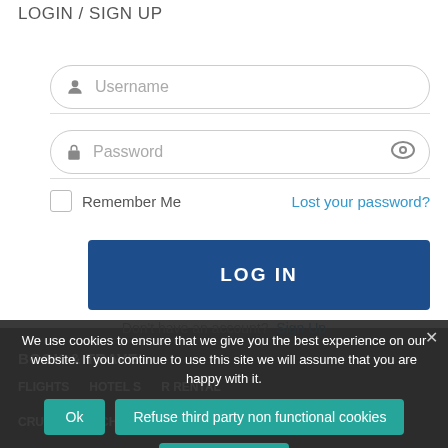LOGIN / SIGN UP
[Figure (screenshot): Username input field with user icon placeholder]
[Figure (screenshot): Password input field with lock icon and eye toggle]
Remember Me
Lost your password?
[Figure (screenshot): LOG IN button in dark blue]
Don't have an account?  Sign Up
BOOK & TRAVEL
FLIGHTS   HOTEL SEARCH   CAR RENTAL
CRUISE SEARCH   AIRPORT TRANSFERS
We use cookies to ensure that we give you the best experience on our website. If you continue to use this site we will assume that you are happy with it.
Ok
Refuse third party non functional cookies
Privacy policy